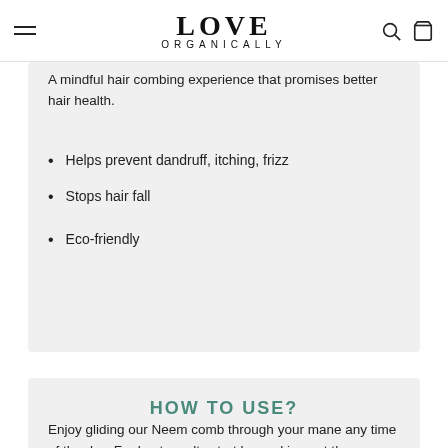LOVE ORGANICALLY
A mindful hair combing experience that promises better hair health.
Helps prevent dandruff, itching, frizz
Stops hair fall
Eco-friendly
HOW TO USE?
Enjoy gliding our Neem comb through your mane any time of the day. For best results start by working out the